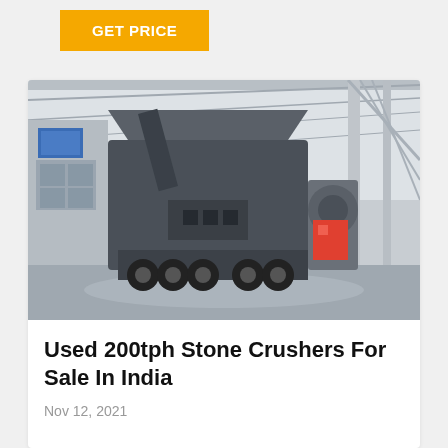GET PRICE
[Figure (photo): A large mobile stone crusher machine on a heavy truck inside an industrial warehouse/factory with steel frame structure and natural lighting from the roof.]
Used 200tph Stone Crushers For Sale In India
Nov 12, 2021